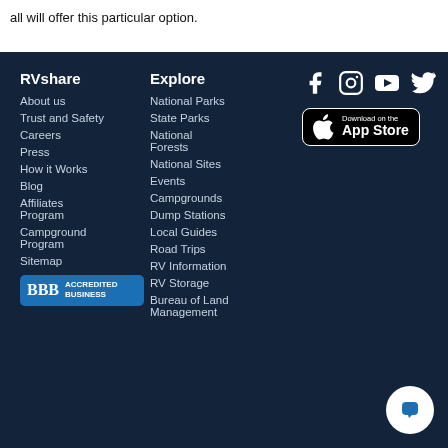all will offer this particular option.
RVshare
About us
Trust and Safety
Careers
Press
How it Works
Blog
Affiliates Program
Campground Program
Sitemap
Explore
National Parks
State Parks
National Forests
National Sites
Events
Campgrounds
Dump Stations
Local Guides
Road Trips
RV Information
RV Storage
Bureau of Land Management
[Figure (logo): Download on the App Store button]
[Figure (logo): BBB Accredited Business badge]
[Figure (other): Social media icons: Facebook, Instagram, YouTube, Twitter]
[Figure (other): Chat bubble icon button]